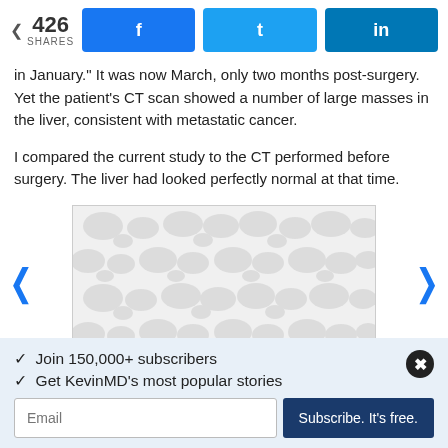426 SHARES | Facebook | Twitter | LinkedIn
in January." It was now March, only two months post-surgery. Yet the patient's CT scan showed a number of large masses in the liver, consistent with metastatic cancer.
I compared the current study to the CT performed before surgery. The liver had looked perfectly normal at that time.
[Figure (photo): Medical image placeholder with decorative blob pattern background, navigation arrows on left and right]
✓  Join 150,000+ subscribers
✓  Get KevinMD's most popular stories